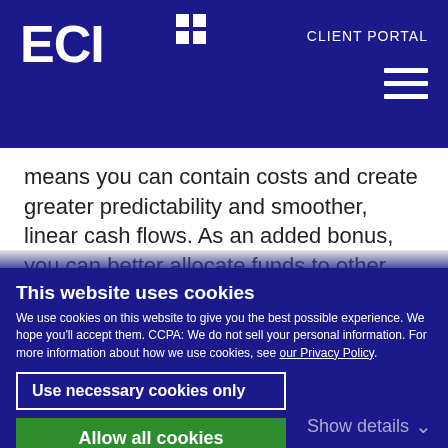ECI+ CLIENT PORTAL
means you can contain costs and create greater predictability and smoother, linear cash flows. As an added bonus, you can better allocate funds to other strategic projects and areas more directly relevant to the business mission. Even within the IT discipline, instead of spending time on
This website uses cookies
We use cookies on this website to give you the best possible experience. We hope you'll accept them. CCPA: We do not sell your personal information. For more information about how we use cookies, see our Privacy Policy.
Use necessary cookies only
Allow all cookies
Show details